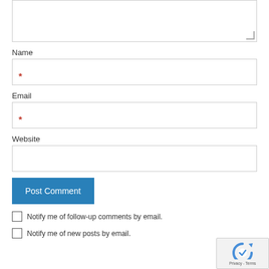[Figure (screenshot): Textarea input box (partially visible, top of page), with resize handle at bottom right]
Name
[Figure (screenshot): Name input field with red asterisk required marker]
Email
[Figure (screenshot): Email input field with red asterisk required marker]
Website
[Figure (screenshot): Website input field]
[Figure (screenshot): Post Comment button (blue)]
Notify me of follow-up comments by email.
Notify me of new posts by email.
[Figure (screenshot): reCAPTCHA badge with logo and Privacy - Terms text]